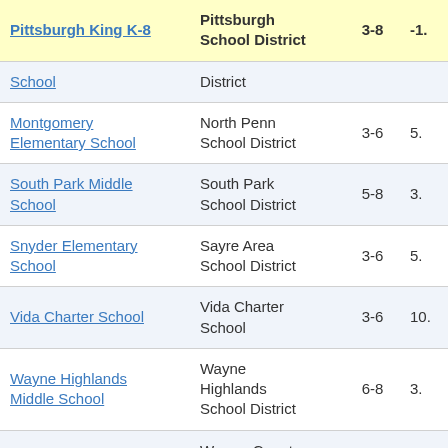| School | District | Grades | Value |
| --- | --- | --- | --- |
| Pittsburgh King K-8 | Pittsburgh School District | 3-8 | -1. |
| School | District |  |  |
| Montgomery Elementary School | North Penn School District | 3-6 | 5. |
| South Park Middle School | South Park School District | 5-8 | 3. |
| Snyder Elementary School | Sayre Area School District | 3-6 | 5. |
| Vida Charter School | Vida Charter School | 3-6 | 10. |
| Wayne Highlands Middle School | Wayne Highlands School District | 6-8 | 3. |
| Eisenhower M/Hs | Warren County School District | 6-11 | 4. |
| Dubois Area Middle School | Dubois Area School District | 5-8 | 2. |